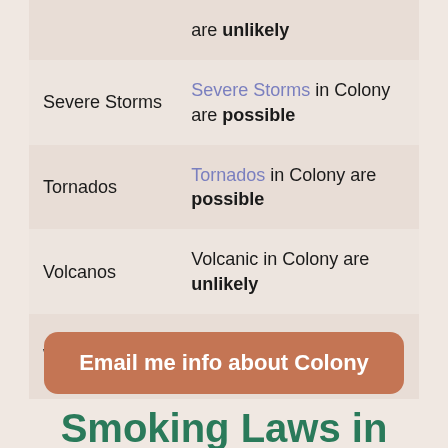| Hazard | Risk Level |
| --- | --- |
|  | are unlikely |
| Severe Storms | Severe Storms in Colony are possible |
| Tornados | Tornados in Colony are possible |
| Volcanos | Volcanic in Colony are unlikely |
| Wildfires | Wildfires in Colony are very low |
Email me info about Colony
Smoking Laws in